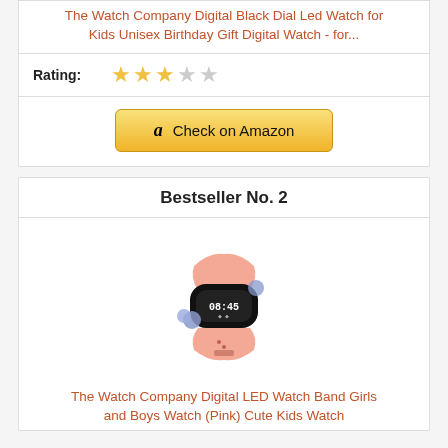The Watch Company Digital Black Dial Led Watch for Kids Unisex Birthday Gift Digital Watch - for...
Rating: ★★★☆☆
Check on Amazon
Bestseller No. 2
[Figure (photo): Pink LED watch band with black digital display and decorative purple pompoms, for kids.]
The Watch Company Digital LED Watch Band Girls and Boys Watch (Pink) Cute Kids Watch